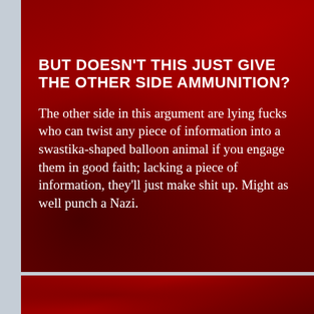BUT DOESN'T THIS JUST GIVE THE OTHER SIDE AMMUNITION?
The other side in this argument are lying fucks who can twist any piece of information into a swastika-shaped balloon animal if you engage them in good faith; lacking a piece of information, they'll just make shit up. Might as well punch a Nazi.